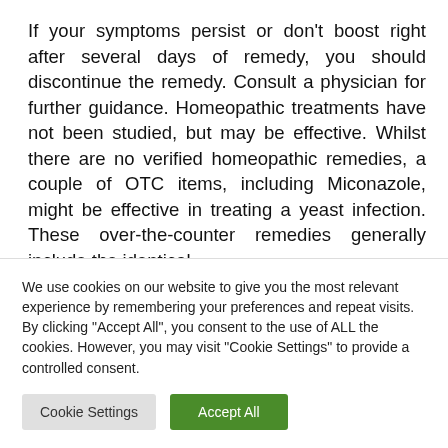If your symptoms persist or don't boost right after several days of remedy, you should discontinue the remedy. Consult a physician for further guidance. Homeopathic treatments have not been studied, but may be effective. Whilst there are no verified homeopathic remedies, a couple of OTC items, including Miconazole, might be effective in treating a yeast infection. These over-the-counter remedies generally include the identical
We use cookies on our website to give you the most relevant experience by remembering your preferences and repeat visits. By clicking "Accept All", you consent to the use of ALL the cookies. However, you may visit "Cookie Settings" to provide a controlled consent.